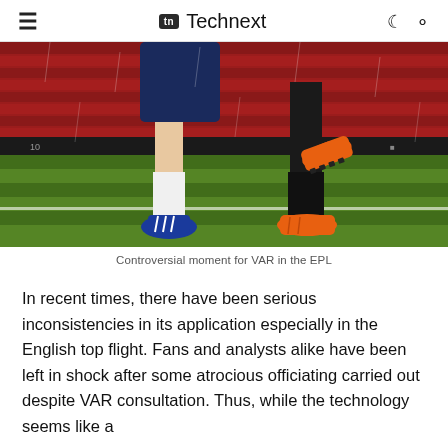Technext
[Figure (photo): Close-up photo of two football players' legs on a grass pitch during a match. One player wears white socks and blue boots, the other wears black socks and orange boots. Red stadium seats visible in the background.]
Controversial moment for VAR in the EPL
In recent times, there have been serious inconsistencies in its application especially in the English top flight. Fans and analysts alike have been left in shock after some atrocious officiating carried out despite VAR consultation. Thus, while the technology seems like a